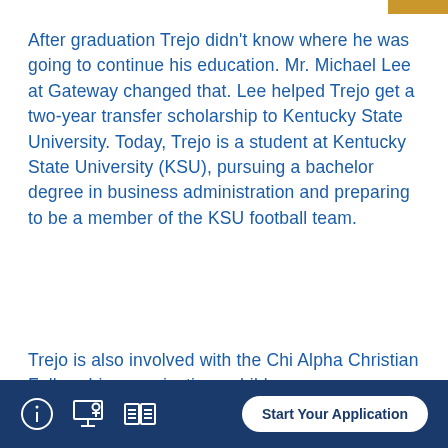After graduation Trejo didn't know where he was going to continue his education. Mr. Michael Lee at Gateway changed that. Lee helped Trejo get a two-year transfer scholarship to Kentucky State University. Today, Trejo is a student at Kentucky State University (KSU), pursuing a bachelor degree in business administration and preparing to be a member of the KSU football team.
Trejo is also involved with the Chi Alpha Christian Fellowship organization, a bible
Start Your Application